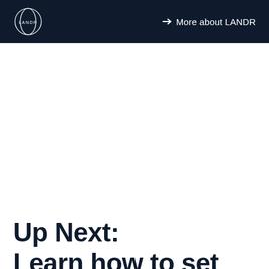LANDR | More about LANDR
Up Next: Learn how to set up your home